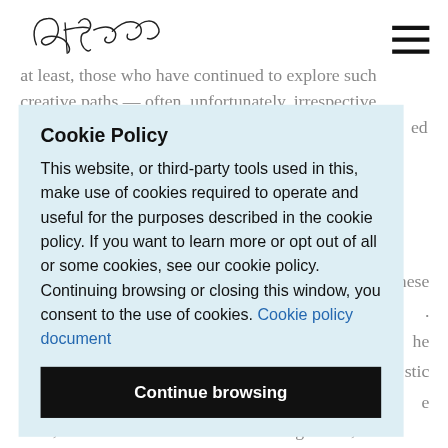[Figure (logo): Handwritten cursive signature/logo reading 'Olelle Adams' or similar]
[Figure (illustration): Hamburger menu icon — three horizontal black lines]
at least, those who have continued to explore such creative paths — often, unfortunately, irrespective …ive …ed
Cookie Policy
This website, or third-party tools used in this, make use of cookies required to operate and useful for the purposes described in the cookie policy. If you want to learn more or opt out of all or some cookies, see our cookie policy. Continuing browsing or closing this window, you consent to the use of cookies. Cookie policy document
[Continue browsing button]
…ese … …he …stic …e
field, a considerable number even being artists,